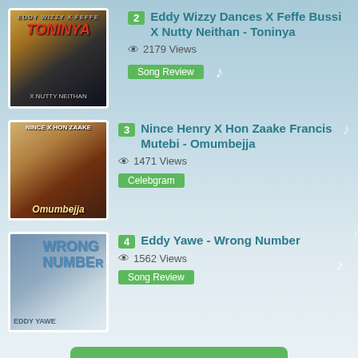2 Eddy Wizzy Dances X Feffe Bussi X Nutty Neithan - Toninya • 2179 Views • Song Review
3 Nince Henry X Hon Zaake Francis Mutebi - Omumbejja • 1471 Views • Celebgram
4 Eddy Yawe - Wrong Number • 1562 Views • Song Review
Read More Stories